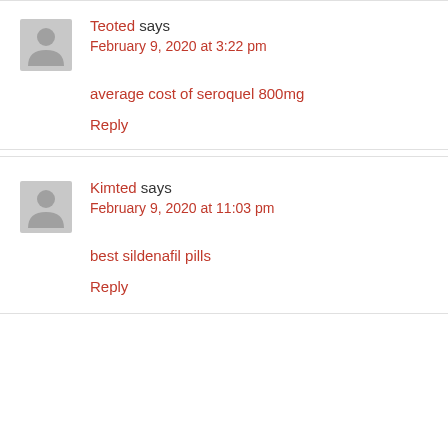Teoted says February 9, 2020 at 3:22 pm
average cost of seroquel 800mg
Reply
Kimted says February 9, 2020 at 11:03 pm
best sildenafil pills
Reply